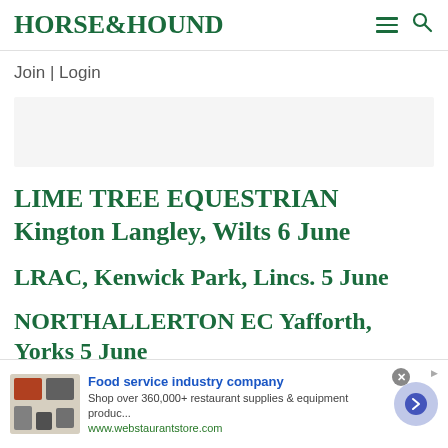HORSE&HOUND
Join | Login
[Figure (other): Advertisement placeholder banner (light grey rectangle)]
LIME TREE EQUESTRIAN Kington Langley, Wilts 6 June
LRAC, Kenwick Park, Lincs. 5 June
NORTHALLERTON EC Yafforth, Yorks 5 June
[Figure (other): Advertisement banner for webstaurantstore.com - Food service industry company. Shop over 360,000+ restaurant supplies & equipment produc... www.webstaurantstore.com]